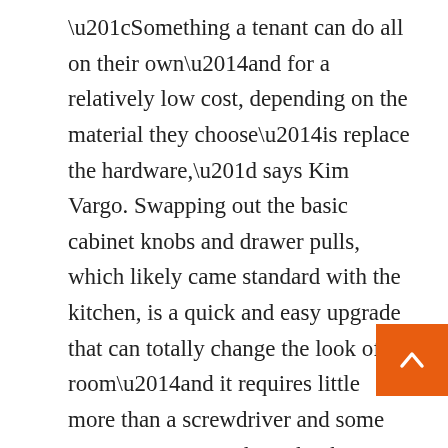“Something a tenant can do all on their own—and for a relatively low cost, depending on the material they choose—is replace the hardware,” says Kim Vargo. Swapping out the basic cabinet knobs and drawer pulls, which likely came standard with the kitchen, is a quick and easy upgrade that can totally change the look of a room—and it requires little more than a screwdriver and some patience. “Cabinet knobs are a great place to get funky,” says Zacks. “I like Rejuvenation, Etsy, and Anthropologie for unexpected and cool pieces.”
Elise McMahon, the artist and designer at LikeMindedObjects, suggests sourcing your hardware used. “I’m such a salvage hunter,” she says. “I would recommend going to your local thrift store—usually people stick to the clothes, but there’s often great